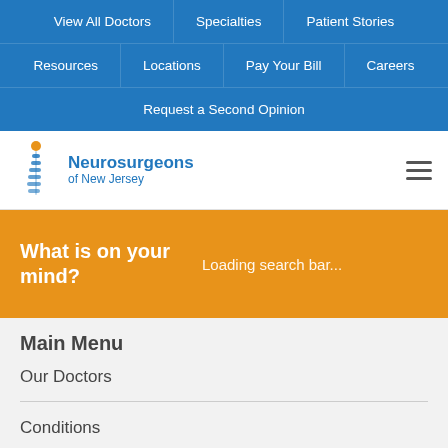View All Doctors | Specialties | Patient Stories | Resources | Locations | Pay Your Bill | Careers | Request a Second Opinion
[Figure (logo): Neurosurgeons of New Jersey logo with spine graphic]
What is on your mind?
Loading search bar...
Main Menu
Our Doctors
Conditions
Treatments
Hospital Affiliations